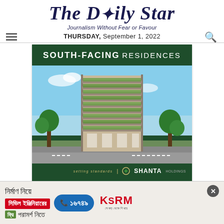The Daily Star — Journalism Without Fear or Favour — THURSDAY, September 1, 2022
[Figure (illustration): Advertisement for Shanta Holdings featuring a tall modern residential building with green balconies against a blue sky. Text reads: SOUTH-FACING RESIDENCES. Bottom bar shows 'setting standards | SHANTA Holdings logo'. Dark green background header and footer bars.]
[Figure (illustration): Bottom banner advertisement in Bengali for KSRM: text about civil engineering consultation (নির্মাণ নিয়ে / সিভিল ইঞ্জিনিয়ারের / ফ্রি পরামর্শ নিতে), phone number ১৬৭৪৯, and KSRM logo with tagline সেকড় থেকে শিখরে. Close button (×) at top right.]